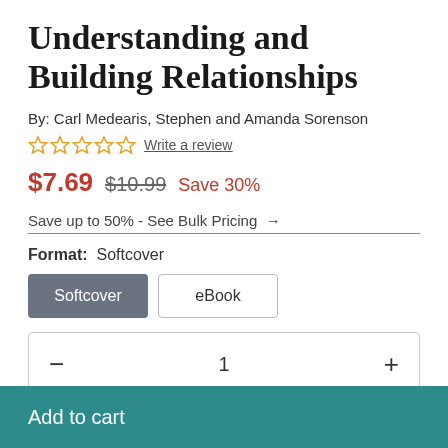Understanding and Building Relationships
By: Carl Medearis, Stephen and Amanda Sorenson
☆☆☆☆☆ Write a review
$7.69  $10.99  Save 30%
Save up to 50% - See Bulk Pricing →
Format: Softcover
Softcover  eBook
− 1 +
Add to cart